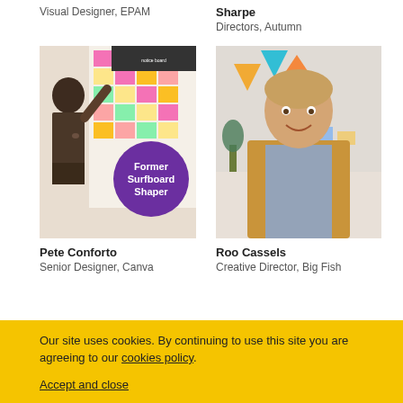Visual Designer, EPAM
Sharpe
Directors, Autumn
[Figure (photo): Person working at a wall covered in colorful sticky notes, with a purple badge overlay reading 'Former Surfboard Shaper']
[Figure (photo): Person standing and smiling in a creative studio environment]
Pete Conforto
Senior Designer, Canva
Roo Cassels
Creative Director, Big Fish
Our site uses cookies. By continuing to use this site you are agreeing to our cookies policy.
Accept and close